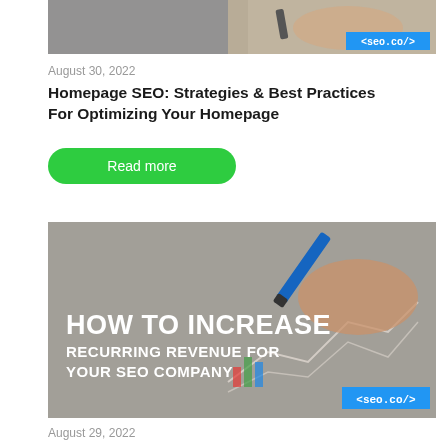[Figure (photo): Top portion of a blog card image showing a person working at a laptop with a seo.co/ badge in the bottom right corner]
August 30, 2022
Homepage SEO: Strategies & Best Practices For Optimizing Your Homepage
Read more
[Figure (photo): Blog card image with a hand holding a blue pen over charts/graphs, with overlay text 'HOW TO INCREASE RECURRING REVENUE FOR YOUR SEO COMPANY' and seo.co/ badge]
August 29, 2022